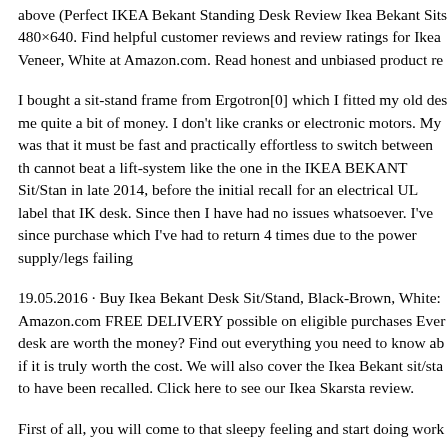above (Perfect IKEA Bekant Standing Desk Review Ikea Bekant Sits 480×640. Find helpful customer reviews and review ratings for Ikea Veneer, White at Amazon.com. Read honest and unbiased product re
I bought a sit-stand frame from Ergotron[0] which I fitted my old des me quite a bit of money. I don't like cranks or electronic motors. My was that it must be fast and practically effortless to switch between th cannot beat a lift-system like the one in the IKEA BEKANT Sit/Stan in late 2014, before the initial recall for an electrical UL label that IK desk. Since then I have had no issues whatsoever. I've since purchase which I've had to return 4 times due to the power supply/legs failing
19.05.2016 · Buy Ikea Bekant Desk Sit/Stand, Black-Brown, White: Amazon.com FREE DELIVERY possible on eligible purchases Ever desk are worth the money? Find out everything you need to know ab if it is truly worth the cost. We will also cover the Ikea Bekant sit/sta to have been recalled. Click here to see our Ikea Skarsta review.
First of all, you will come to that sleepy feeling and start doing work